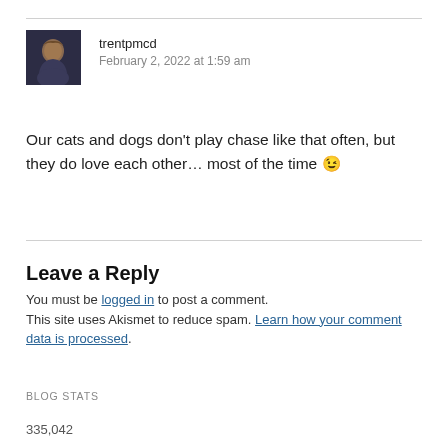[Figure (photo): Avatar photo of user trentpmcd, showing a person with curly hair against a dark background]
trentpmcd
February 2, 2022 at 1:59 am
Our cats and dogs don't play chase like that often, but they do love each other… most of the time 😉
Leave a Reply
You must be logged in to post a comment.
This site uses Akismet to reduce spam. Learn how your comment data is processed.
BLOG STATS